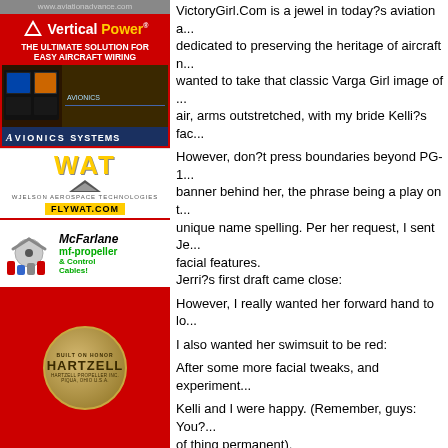[Figure (advertisement): Vertical Power aviation wiring advertisement with logo and avionics panel image]
[Figure (advertisement): WAT (Wjelson Aerospace Technologies) FLYWAT.COM advertisement]
[Figure (advertisement): McFarlane mf-propeller and Control Cables advertisement]
[Figure (advertisement): Hartzell propeller advertisement with gold circular logo on red background]
VictoryGirl.Com is a jewel in today?s aviation a... dedicated to preserving the heritage of aircraft n... wanted to take that classic Varga Girl image of ... air, arms outstretched, with my bride Kelli?s fac...
However, don?t press boundaries beyond PG-1... banner behind her, the phrase being a play on t... unique name spelling. Per her request, I sent Je... facial features.
Jerri?s first draft came close:
However, I really wanted her forward hand to lo...
I also wanted her swimsuit to be red:
After some more facial tweaks, and experiment...
Kelli and I were happy. (Remember, guys: You?... of thing permanent).
Jerri applied the mock-up to the side of photos ...
?and we pulled the trigger.
Jerri (VictoryGirl.com) and Jason (Dream Sche... Scott at AircraftWraps. He was ready for the air... Palm Beach?
Scroll